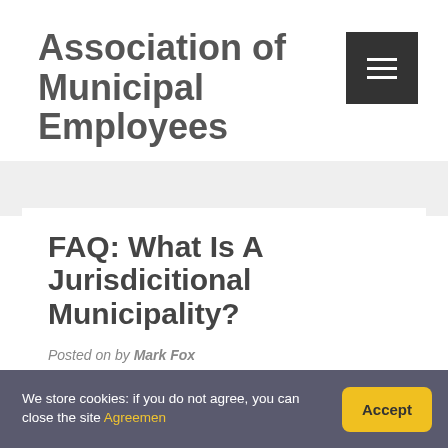Association of Municipal Employees
FAQ: What Is A Jurisdicitional Municipality?
Posted on by Mark Fox
We store cookies: if you do not agree, you can close the site Agreemen